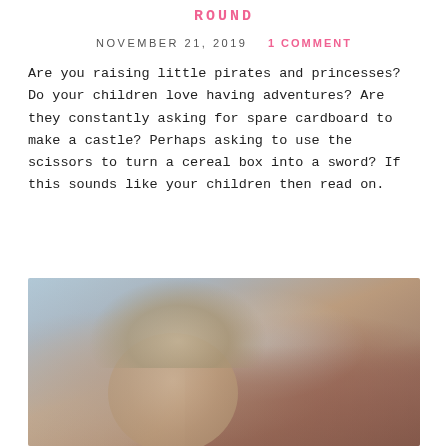ROUND
NOVEMBER 21, 2019   1 COMMENT
Are you raising little pirates and princesses? Do your children love having adventures? Are they constantly asking for spare cardboard to make a castle? Perhaps asking to use the scissors to turn a cereal box into a sword? If this sounds like your children then read on.
[Figure (photo): A young boy wearing a bejeweled crown, photographed from behind/side, with blurred buildings in the background. Warm, moody tones.]